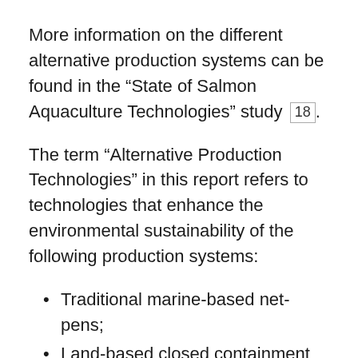More information on the different alternative production systems can be found in the “State of Salmon Aquaculture Technologies” study [18].
The term “Alternative Production Technologies” in this report refers to technologies that enhance the environmental sustainability of the following production systems:
Traditional marine-based net-pens;
Land-based closed containment (i.e., Recirculating Aquaculture Systems (RAS)):